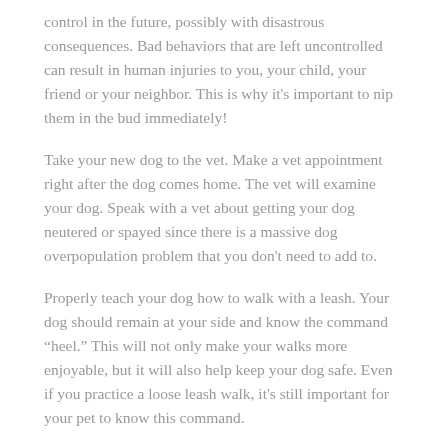control in the future, possibly with disastrous consequences. Bad behaviors that are left uncontrolled can result in human injuries to you, your child, your friend or your neighbor. This is why it's important to nip them in the bud immediately!
Take your new dog to the vet. Make a vet appointment right after the dog comes home. The vet will examine your dog. Speak with a vet about getting your dog neutered or spayed since there is a massive dog overpopulation problem that you don't need to add to.
Properly teach your dog how to walk with a leash. Your dog should remain at your side and know the command “heel.” This will not only make your walks more enjoyable, but it will also help keep your dog safe. Even if you practice a loose leash walk, it's still important for your pet to know this command.